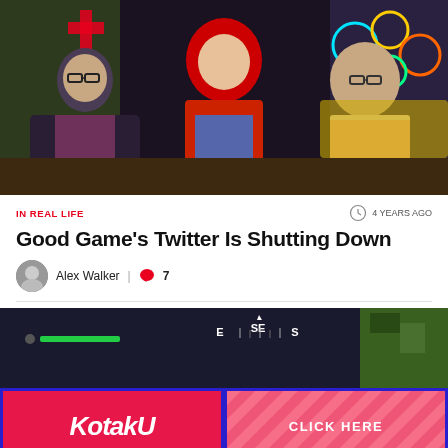[Figure (photo): Three people sitting in a gaming/entertainment studio set. Left: man with glasses in plaid shirt. Center: woman with bright red hair in red chair. Right: woman with glasses in striped shirt. Colorful neon-lit background.]
IN REAL LIFE
4 YEARS AGO
Good Game's Twitter Is Shutting Down
Alex Walker  |  7
[Figure (screenshot): Dark screenshot showing a compass/navigation interface with letters E, SE, S visible]
[Figure (infographic): Kotaku advertisement banner with Kotaku logo on left and CLICK HERE button on right with diagonal stripe pattern]